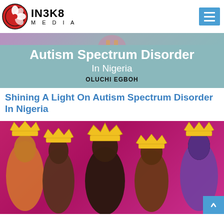IN3K8 MEDIA
[Figure (photo): IN3K8 Media logo: circular red badge with white ribbon/petal design, followed by text IN3K8 in bold and MEDIA in spaced capitals]
[Figure (photo): Autism Spectrum Disorder in Nigeria article banner with teal/blue-grey background, large white bold text reading 'Autism Spectrum Disorder', subtitle 'In Nigeria', and author name 'OLUCHI EGBOH' in black bold. A partial figure image visible at the top.]
Shining A Light On Autism Spectrum Disorder In Nigeria
[Figure (photo): Collage of five Black women on a vibrant magenta/pink background, each wearing or surrounded by golden crown emoji overlays. The women appear to be models or entertainers styled in various outfits. A blue scroll-to-top button is visible at the bottom right.]